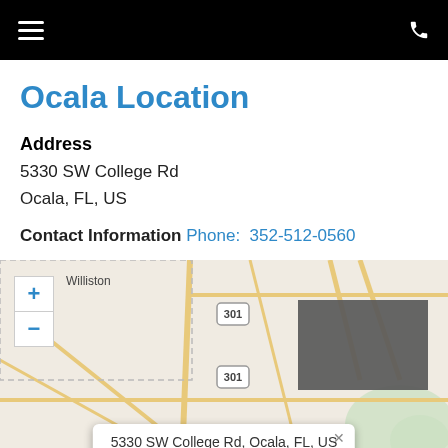Ocala Location
Address
5330 SW College Rd
Ocala, FL, US
Contact Information Phone: 352-512-0560
[Figure (map): Map showing area around 5330 SW College Rd, Ocala, FL, US. Shows Williston, Reddick, and route 301. Zoom controls visible. A popup at the bottom reads: 5330 SW College Rd, Ocala, FL, US]